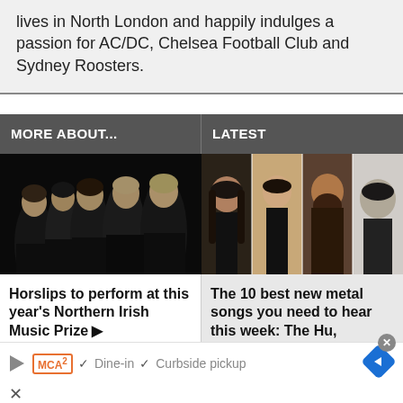lives in North London and happily indulges a passion for AC/DC, Chelsea Football Club and Sydney Roosters.
MORE ABOUT...
LATEST
[Figure (photo): Band photo of Horslips — five young men in black against dark background]
Horslips to perform at this year's Northern Irish Music Prize ▶
[Figure (photo): Collage of four metal musicians for 'The 10 best new metal songs' article]
The 10 best new metal songs you need to hear this week: The Hu,
▷  MCA²  ✓ Dine-in  ✓ Curbside pickup